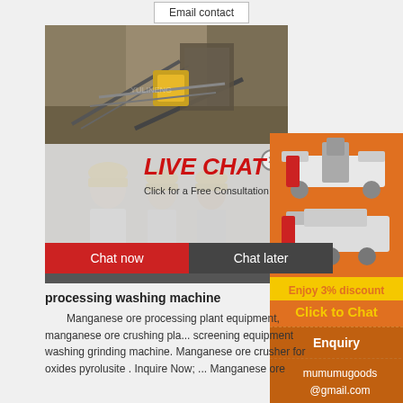Email contact
[Figure (photo): Mining/quarry site with conveyor belts and heavy machinery]
[Figure (photo): Live chat overlay with three workers in yellow hard hats, LIVE CHAT heading, Click for a Free Consultation, Chat now and Chat later buttons]
[Figure (photo): Sidebar advertisement showing mining/crushing equipment on orange background, Enjoy 3% discount, Click to Chat, Enquiry, mumumugoods@gmail.com]
processing washing machine
Manganese ore processing plant equipment, manganese ore crushing pla... screening equipment washing grinding machine. Manganese ore crusher for oxides pyrolusite . Inquire Now; ... Manganese ore